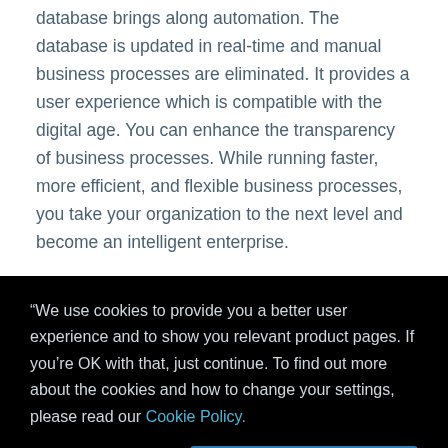database brings along automation. The database is updated in real-time and manual business processes are eliminated. It provides a user experience which is compatible with the digital age. You can enhance the transparency of business processes. While running faster, more efficient, and flexible business processes, you take your organization to the next level and become an intelligent enterprise.
“We use cookies to provide you a better user experience and to show you relevant product pages. If you’re OK with that, just continue. To find out more about the cookies and how to change your settings, please read our Cookie Policy.